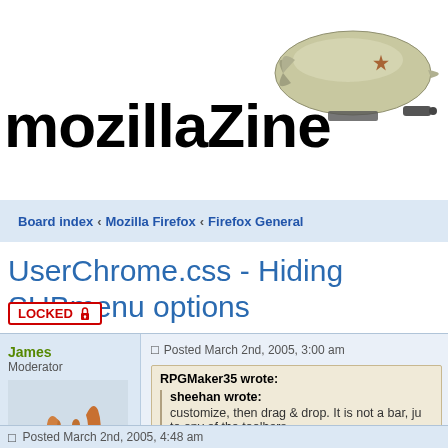[Figure (logo): mozillaZine logo with blimp illustration in top right]
mozillaZine
Board index « Mozilla Firefox « Firefox General
UserChrome.css - Hiding SUBmenu options
LOCKED
Posted March 2nd, 2005, 3:00 am
James
Moderator
Posts: 27873
Joined: June 18th, 2003, 3:07 pm
Location: Made in Canada
RPGMaker35 wrote:

sheehan wrote:
customize, then drag & drop. It is not a bar, ju to any of the toolbars.

my bad, i ment the find bar >.>
Make "Find as you type" bar on top?
http://forums.mozillazine.org/viewtopic.php?t=161272
Posted March 2nd, 2005, 4:48 am